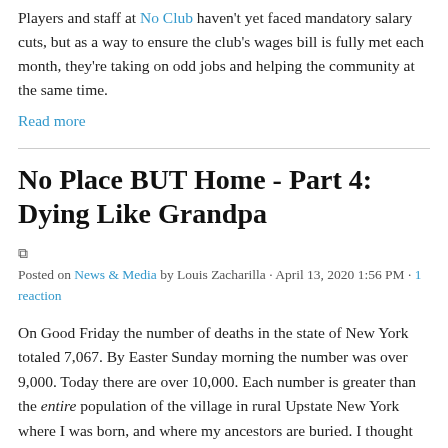Players and staff at No Club haven't yet faced mandatory salary cuts, but as a way to ensure the club's wages bill is fully met each month, they're taking on odd jobs and helping the community at the same time.
Read more
No Place BUT Home - Part 4: Dying Like Grandpa
Posted on News & Media by Louis Zacharilla · April 13, 2020 1:56 PM · 1 reaction
On Good Friday the number of deaths in the state of New York totaled 7,067. By Easter Sunday morning the number was over 9,000. Today there are over 10,000. Each number is greater than the entire population of the village in rural Upstate New York where I was born, and where my ancestors are buried. I thought about that